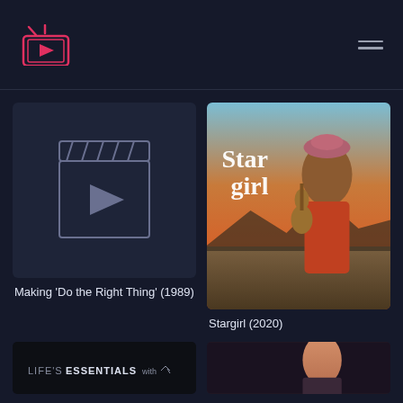Streaming app header with logo and hamburger menu
[Figure (screenshot): Video placeholder thumbnail showing a clapperboard/film icon with play button, dark background]
Making 'Do the Right Thing' (1989)
[Figure (photo): Stargirl (2020) movie poster showing a young woman with a guitar, wearing a colorful outfit and pink beret, desert sunset background, with 'Stargirl' text overlay]
Stargirl (2020)
[Figure (screenshot): Partially visible card showing "LIFE'S ESSENTIALS with" text on dark background]
[Figure (photo): Partially visible movie/show thumbnail]